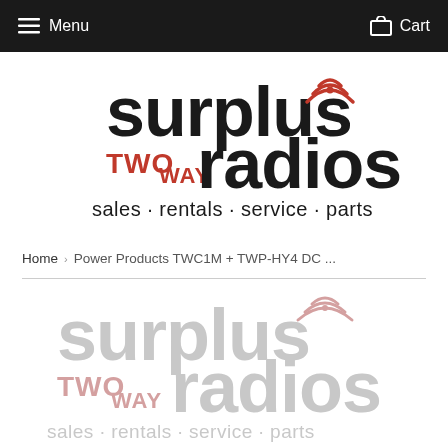Menu   Cart
[Figure (logo): Surplus Two Way Radios logo — 'surplus' in black bold, 'TWO WAY' in red bold, 'radios' in black bold with red wifi signal arcs over the 'i', tagline 'sales · rentals · service · parts' in black]
Home › Power Products TWC1M + TWP-HY4 DC ...
[Figure (logo): Surplus Two Way Radios logo watermark version — same logo in light gray/faded tones used as product image placeholder]